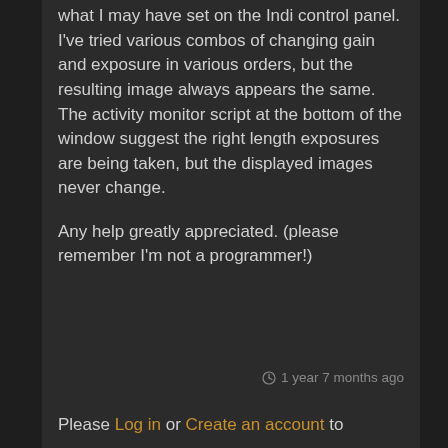what I may have set on the Indi control panel.
I've tried various combos of changing gain and exposure in various orders, but the resulting image always appears the same. The activity monitor script at the bottom of the window suggest the right length exposures are being taken, but the displayed images never change.

Any help greatly appreciated. (please remember I'm not a programmer!)
1 year 7 months ago
Please Log in or Create an account to